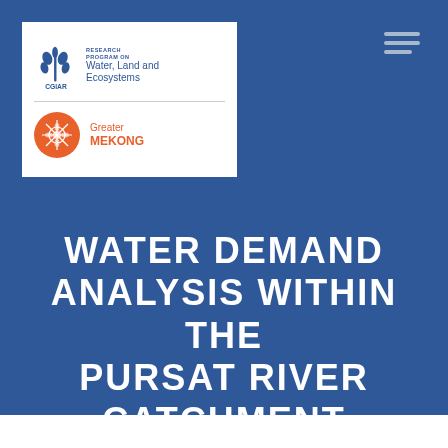[Figure (logo): CGIAR Research Program on Water, Land and Ecosystems (WLE) logo with wheat/plant icon and text, plus Greater Mekong orange circle logo below, all on white card background]
WATER DEMAND ANALYSIS WITHIN THE PURSAT RIVER CATCHMENT